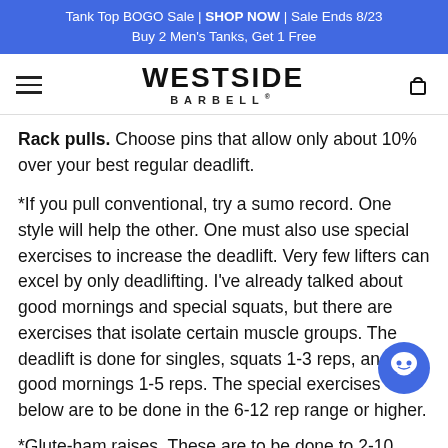Tank Top BOGO Sale | SHOP NOW | Sale Ends 8/23
Buy 2 Men's Tanks, Get 1 Free
[Figure (logo): Westside Barbell logo with hamburger menu and cart icon]
Rack pulls. Choose pins that allow only about 10% over your best regular deadlift.
*If you pull conventional, try a sumo record. One style will help the other. One must also use special exercises to increase the deadlift. Very few lifters can excel by only deadlifting. I've already talked about good mornings and special squats, but there are exercises that isolate certain muscle groups. The deadlift is done for singles, squats 1-3 reps, and good mornings 1-5 reps. The special exercises below are to be done in the 6-12 rep range or higher.
*Glute-ham raises. These are to be done to 2-10 reps